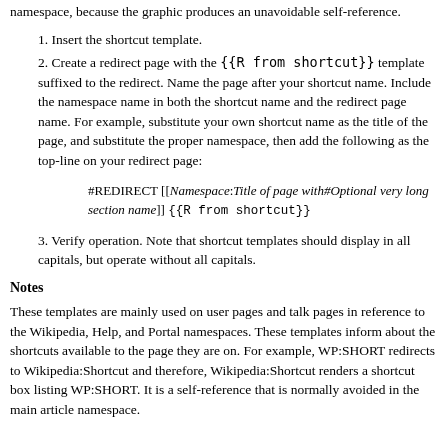namespace, because the graphic produces an unavoidable self-reference.
Insert the shortcut template.
Create a redirect page with the {{R from shortcut}} template suffixed to the redirect. Name the page after your shortcut name. Include the namespace name in both the shortcut name and the redirect page name. For example, substitute your own shortcut name as the title of the page, and substitute the proper namespace, then add the following as the top-line on your redirect page:
#REDIRECT [[Namespace:Title of page with#Optional very long section name]] {{R from shortcut}}
Verify operation. Note that shortcut templates should display in all capitals, but operate without all capitals.
Notes
These templates are mainly used on user pages and talk pages in reference to the Wikipedia, Help, and Portal namespaces. These templates inform about the shortcuts available to the page they are on. For example, WP:SHORT redirects to Wikipedia:Shortcut and therefore, Wikipedia:Shortcut renders a shortcut box listing WP:SHORT. It is a self-reference that is normally avoided in the main article namespace.